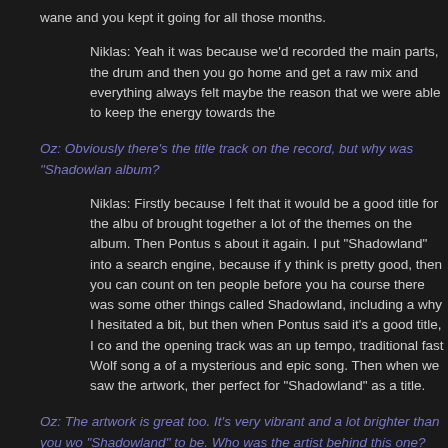wane and you kept it going for all those months.
Niklas: Yeah it was because we'd recorded the main parts, the drum and then you go home and get a raw mix and everything always felt maybe the reason that we were able to keep the energy towards the
Oz: Obviously there's the title track on the record, but why was "Shadowlan album?
Niklas: Firstly because I felt that it would be a good title for the albu of brought together a lot of the themes on the album. Then Pontus s about it again. I put "Shadowland" into a search engine, because if y think is pretty good, then you can count on ten people before you ha course there was some other things called Shadowland, including a why I hesitated a bit, but then when Pontus said it's a good title, I co and the opening track was an up tempo, traditional fast Wolf song a of a mysterious and epic song. Then when we saw the artwork, ther perfect for "Shadowland" as a title.
Oz: The artwork is great too. It's very vibrant and a lot brighter than you wo "Shadowland" to be. Who was the artist behind this one?
Niklas: It's Thomas Holm, who did Mercyful Fate's "Don't Break The as well as some early King Diamond stuff and then he started to do for us was "Black Wings" and then he did "The Black Flame," "Ba